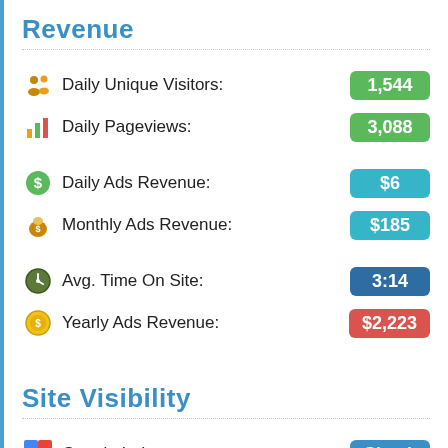Revenue
Daily Unique Visitors: 1,544
Daily Pageviews: 3,088
Daily Ads Revenue: $6
Monthly Ads Revenue: $185
Avg. Time On Site: 3:14
Yearly Ads Revenue: $2,223
Site Visibility
Google Index: Check
Yahoo Index: Check
Bing Index: Check